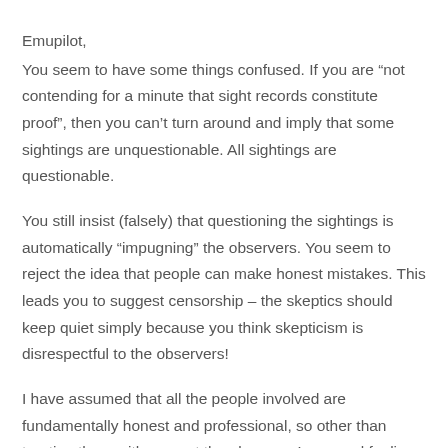Emupilot,
You seem to have some things confused. If you are “not contending for a minute that sight records constitute proof”, then you can’t turn around and imply that some sightings are unquestionable. All sightings are questionable.
You still insist (falsely) that questioning the sightings is automatically “impugning” the observers. You seem to reject the idea that people can make honest mistakes. This leads you to suggest censorship – the skeptics should keep quiet simply because you think skepticism is disrespectful to the observers!
I have assumed that all the people involved are fundamentally honest and professional, so other than treating them with respect the observers’ personal feelings have no bearing on the evidence. What is relevant is the actual physical evidence, and my primary obligation is to assess that carefully and objectively and to report